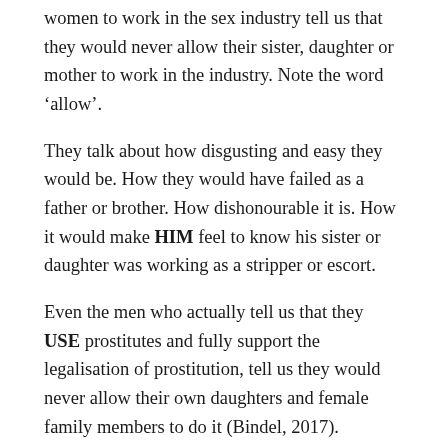women to work in the sex industry tell us that they would never allow their sister, daughter or mother to work in the industry. Note the word ‘allow’.
They talk about how disgusting and easy they would be. How they would have failed as a father or brother. How dishonourable it is. How it would make HIM feel to know his sister or daughter was working as a stripper or escort.
Even the men who actually tell us that they USE prostitutes and fully support the legalisation of prostitution, tell us they would never allow their own daughters and female family members to do it (Bindel, 2017).
So, it appears that when we ask people to ‘imagine it